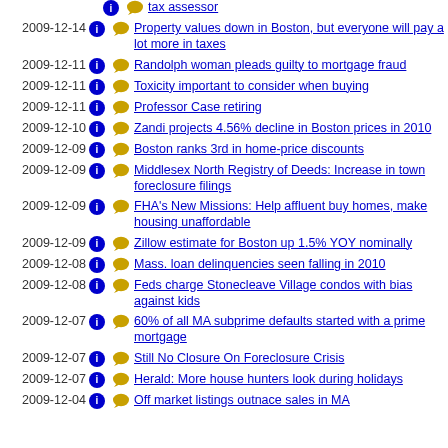tax assessor
2009-12-14 Property values down in Boston, but everyone will pay a lot more in taxes
2009-12-11 Randolph woman pleads guilty to mortgage fraud
2009-12-11 Toxicity important to consider when buying
2009-12-11 Professor Case retiring
2009-12-10 Zandi projects 4.56% decline in Boston prices in 2010
2009-12-09 Boston ranks 3rd in home-price discounts
2009-12-09 Middlesex North Registry of Deeds: Increase in town foreclosure filings
2009-12-09 FHA's New Missions: Help affluent buy homes, make housing unaffordable
2009-12-09 Zillow estimate for Boston up 1.5% YOY nominally
2009-12-08 Mass. loan delinquencies seen falling in 2010
2009-12-08 Feds charge Stonecleave Village condos with bias against kids
2009-12-07 60% of all MA subprime defaults started with a prime mortgage
2009-12-07 Still No Closure On Foreclosure Crisis
2009-12-07 Herald: More house hunters look during holidays
2009-12-04 Off market listings outnace sales in MA